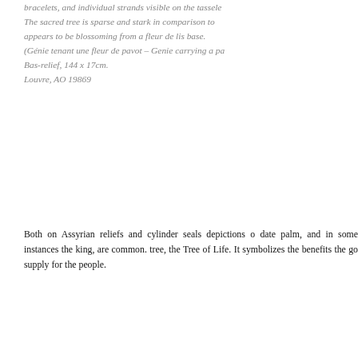bracelets, and individual strands visible on the tasseled… The sacred tree is sparse and stark in comparison to… appears to be blossoming from a fleur de lis base. (Génie tenant une fleur de pavot – Genie carrying a pa… Bas-relief, 144 x 17cm. Louvre, AO 19869
Both on Assyrian reliefs and cylinder seals depictions o… date palm, and in some instances the king, are common. tree, the Tree of Life. It symbolizes the benefits the goo… supply for the people.
[Figure (photo): Photograph of Assyrian cylinder seals and a bas-relief fragment showing carved figures, displayed against a gray background. The image is watermarked with repeated '© LESSING ARCHIVE ©' text overlaid across the photo.]